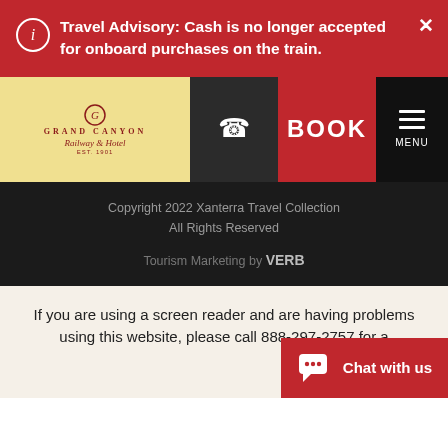Travel Advisory: Cash is no longer accepted for onboard purchases on the train.
[Figure (logo): Grand Canyon Railway & Hotel logo on cream/gold background]
Copyright 2022 Xanterra Travel Collection
All Rights Reserved
Tourism Marketing by VERB
If you are using a screen reader and are having problems using this website, please call 888-297-2757 for a
[Figure (screenshot): Chat with us widget button with speech bubble icon]